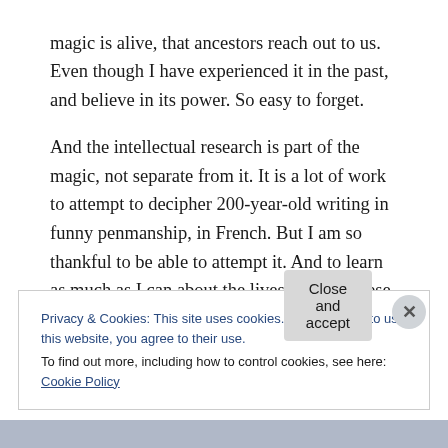magic is alive, that ancestors reach out to us. Even though I have experienced it in the past, and believe in its power. So easy to forget.

And the intellectual research is part of the magic, not separate from it. It is a lot of work to attempt to decipher 200-year-old writing in funny penmanship, in French. But I am so thankful to be able to attempt it. And to learn as much as I can about the lives of all of these women. I also learned that for some of them, the Innu name is
Privacy & Cookies: This site uses cookies. By continuing to use this website, you agree to their use.
To find out more, including how to control cookies, see here: Cookie Policy
Close and accept